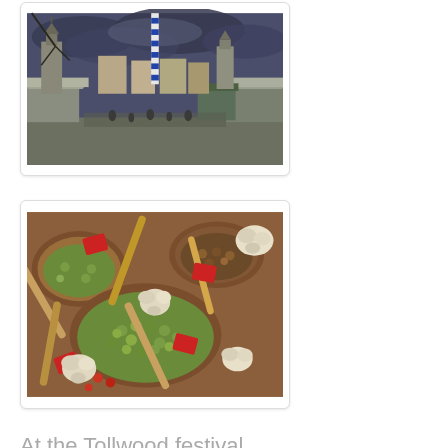[Figure (photo): Outdoor market scene with market stalls, a tall maypole with blue and white stripes in the center, European-style buildings and church towers in the background under a dramatic cloudy sky.]
[Figure (photo): Close-up of market food stalls showing wooden bowls and trays filled with green olives, other foods, wooden spoons/scoops, red price tags, and garlic bulbs.]
At the Tollwood festival
[Figure (photo): Partially visible photo showing a bright blue background, appears to be the top portion of another festival/event image.]